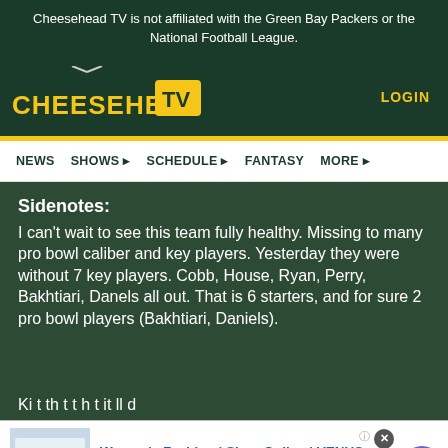Cheesehead TV is not affiliated with the Green Bay Packers or the National Football League.
[Figure (logo): Cheesehead TV logo with golden text and TV icon with antenna]
LOGIN
NEWS   SHOWS ▸   SCHEDULE ▸   FANTASY   MORE ▸
Sidenotes:
I can't wait to see this team fully healthy. Missing to many pro bowl caliber and key players. Yesterday they were without 7 key players. Cobb, House, Ryan, Perry, Bakhtiari, Danels all out. That is 6 starters, and for sure 2 pro bowl players (Bakhtiari, Daniels).
[Figure (screenshot): Advertisement: Women's Fashion | Shop Online | VENUS - Shop the best in women's fashion, clothing, swimwear - venus.com]